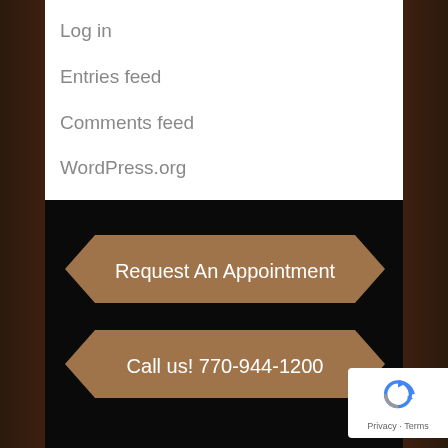Log in
Entries feed
Comments feed
WordPress.org
[Figure (infographic): Dark-background section with two bronze/tan hexagon-shaped buttons: 'Request An Appointment' and 'Call us! 770-944-1200']
[Figure (logo): reCAPTCHA badge with circular arrow logo and 'Privacy · Terms' text]